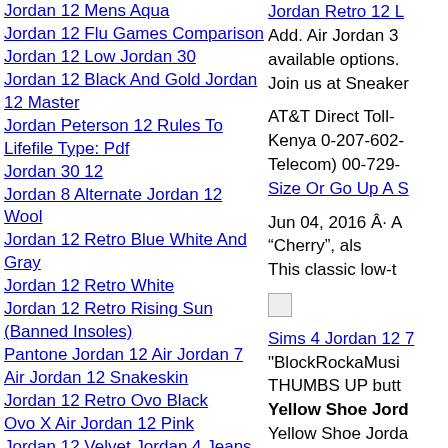Jordan 12 Mens Aqua
Jordan 12 Flu Games Comparison
Jordan 12 Low Jordan 30
Jordan 12 Black And Gold Jordan 12 Master
Jordan Peterson 12 Rules To Lifefile Type: Pdf
Jordan 30 12
Jordan 8 Alternate Jordan 12 Wool
Jordan 12 Retro Blue White And Gray
Jordan 12 Retro White
Jordan 12 Retro Rising Sun (Banned Insoles)
Pantone Jordan 12 Air Jordan 7
Air Jordan 12 Snakeskin
Jordan 12 Retro Ovo Black
Ovo X Air Jordan 12 Pink
Jordan 12 Velvet Jordan 4 Jeans
Jordan B Peterson 12 Rules Fo Rlife Quotes
Jordan Retro 12 Foor Boys Cost
Jordan 12 Flu Games Jordan 12 Flu Games Coloring Pages
White Retro 12 Hydro Jordan Men Sandals
Jordan Retro 12 L... Add. Air Jordan 3 available options. Join us at Sneaker
AT&T Direct Toll- Kenya 0-207-602- Telecom) 00-729-
Size Or Go Up A S
Jun 04, 2016 Â· A “Cherry”, als This classic low-t
[Figure (photo): Small broken/placeholder image icon]
Sims 4 Jordan 12 7 "BlockRockaMusi THUMBS UP butt
Yellow Shoe Jord
Yellow Shoe Jorda shoe just popped u made the analysis Shoe Jordan 12â Nubuck leather. Sp the greasy dirt part